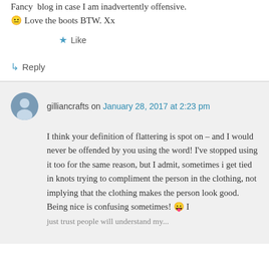Fancy blog in case I am inadvertently offensive. 😐 Love the boots BTW. Xx
★ Like
↳ Reply
gilliancrafts on January 28, 2017 at 2:23 pm
I think your definition of flattering is spot on – and I would never be offended by you using the word! I've stopped using it too for the same reason, but I admit, sometimes i get tied in knots trying to compliment the person in the clothing, not implying that the clothing makes the person look good. Being nice is confusing sometimes! 😛 I just trust people will understand my...